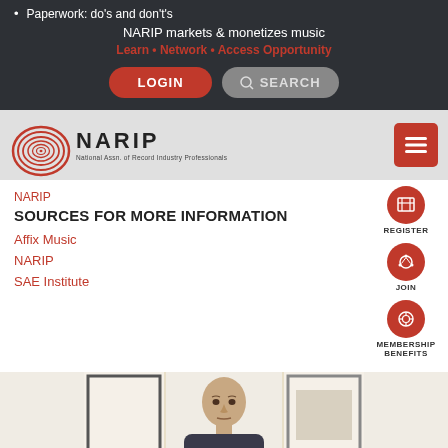Paperwork: do's and don't's
NARIP markets & monetizes music
Learn • Network • Access Opportunity
[Figure (logo): NARIP spiral logo with text National Assn. of Record Industry Professionals]
NARIP
SOURCES FOR MORE INFORMATION
Affix Music
NARIP
SAE Institute
[Figure (photo): Bald man looking into camera, framed artwork on wall behind him]